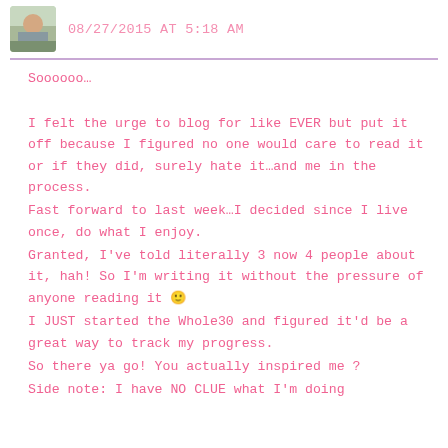08/27/2015 AT 5:18 AM
Soooooo…
I felt the urge to blog for like EVER but put it off because I figured no one would care to read it or if they did, surely hate it…and me in the process.
Fast forward to last week…I decided since I live once, do what I enjoy.
Granted, I've told literally 3 now 4 people about it, hah! So I'm writing it without the pressure of anyone reading it 🙂
I JUST started the Whole30 and figured it'd be a great way to track my progress.
So there ya go! You actually inspired me ?
Side note: I have NO CLUE what I'm doing